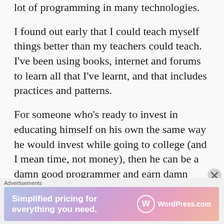lot of programming in many technologies.
I found out early that I could teach myself things better than my teachers could teach. I’ve been using books, internet and forums to learn all that I’ve learnt, and that includes practices and patterns.
For someone who’s ready to invest in educating himself on his own the same way he would invest while going to college (and I mean time, not money), then he can be a damn good programmer and earn damn good
Advertisements
[Figure (other): WordPress.com advertisement banner: 'Simplified pricing for everything you need.' with WordPress.com logo on a gradient purple-pink background]